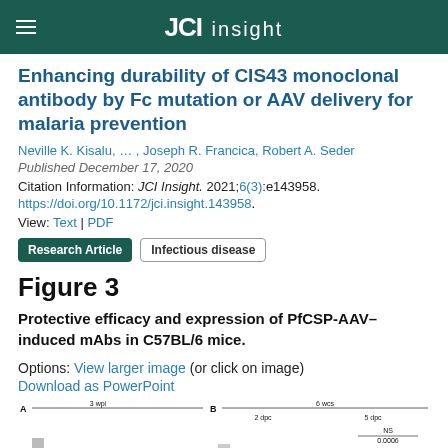JCI insight
Enhancing durability of CIS43 monoclonal antibody by Fc mutation or AAV delivery for malaria prevention
Neville K. Kisalu, … , Joseph R. Francica, Robert A. Seder
Published December 17, 2020
Citation Information: JCI Insight. 2021;6(3):e143958.
https://doi.org/10.1172/jci.insight.143958.
View: Text | PDF
Research Article   Infectious disease
Figure 3
Protective efficacy and expression of PfCSP-AAV–induced mAbs in C57BL/6 mice.
Options: View larger image (or click on image)
Download as PowerPoint
[Figure (other): Partial view of Figure 3 chart panels A and B showing axis labels: A with '3 wpi', B with '6 wcs', '2 dpc', '5 dpc', 'NS', '0.0006']